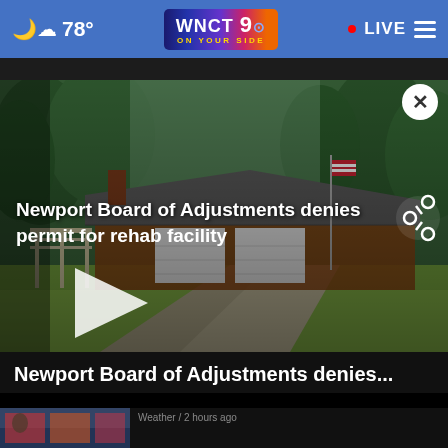☁ 78° | WNCT 9 ON YOUR SIDE | • LIVE ☰
[Figure (screenshot): Video thumbnail of a brick house with flagpole and driveway, partially darkened. White overlay text reads 'Newport Board of Adjustments denies permit for rehab facility'. A white play button triangle is visible on the left side.]
Newport Board of Adjustments denies...
Weather / 2 hours ago